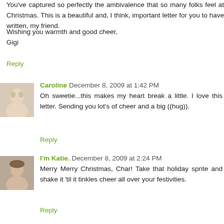You've captured so perfectly the ambivalence that so many folks feel at Christmas. This is a beautiful and, I think, important letter for you to have written, my friend.
Wishing you warmth and good cheer,
Gigi
Reply
Caroline  December 8, 2009 at 1:42 PM
Oh sweetie...this makes my heart break a little. I love this letter. Sending you lot's of cheer and a big ((hug)).
Reply
I'm Katie.  December 8, 2009 at 2:24 PM
Merry Merry Christmas, Char! Take that holiday sprite and shake it 'til it tinkles cheer all over your festivities.
Reply